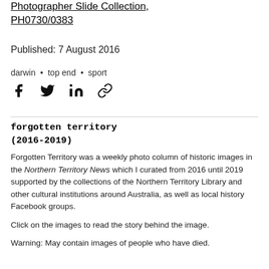Photographer Slide Collection, PH0730/0383
Published: 7 August 2016
darwin • top end • sport
[Figure (other): Social share icons: Facebook, Twitter, LinkedIn, link]
forgotten territory (2016-2019)
Forgotten Territory was a weekly photo column of historic images in the Northern Territory News which I curated from 2016 until 2019 supported by the collections of the Northern Territory Library and other cultural institutions around Australia, as well as local history Facebook groups.
Click on the images to read the story behind the image.
Warning: May contain images of people who have died.